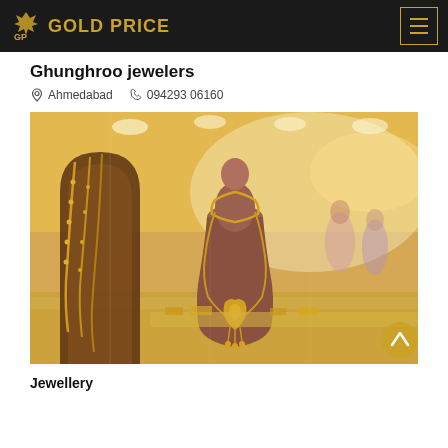GOLD PRICE
Ghunghroo jewelers
Ahmedabad   094293 06160
[Figure (photo): Interior of a jewellery store showing gold necklaces displayed on mannequin busts in the foreground, with a bright, warmly lit jewellery showroom and customers in the background.]
Jewellery